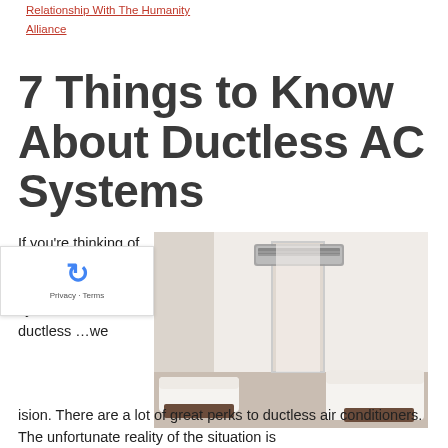Relationship With The Humanity Alliance
7 Things to Know About Ductless AC Systems
If you're thinking of switching from your current HVAC system to a ductless …we
[Figure (photo): Interior room photo showing a ductless mini-split AC unit mounted on a white wall above a doorway, with a white sofa and dark wood furniture visible in a modern, minimal room.]
ision. There are a lot of great perks to ductless air conditioners. The unfortunate reality of the situation is